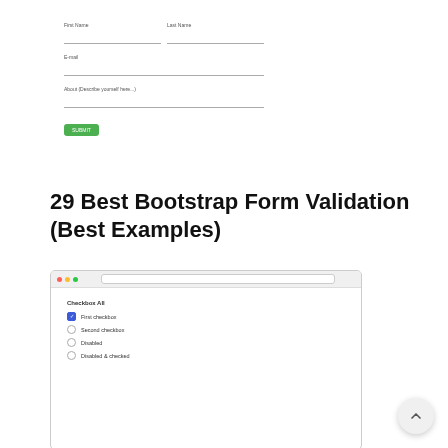[Figure (screenshot): Screenshot of a Bootstrap form on a blue background, showing a white card with form fields (First Name, Last Name, E-mail, About textarea) and a green Submit button.]
29 Best Bootstrap Form Validation (Best Examples)
[Figure (screenshot): Browser screenshot showing a Bootstrap checkbox form with title 'Checkbox All', items: First checkbox (checked, blue), Second checkbox, Disabled, Disabled & checked.]